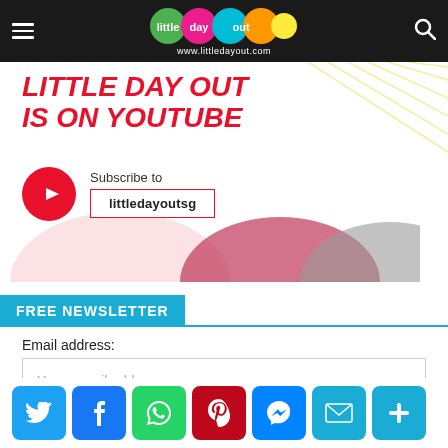Little Day Out — www.littledayout.com
[Figure (screenshot): YouTube promotional banner: 'LITTLE DAY OUT IS ON YOUTUBE' in bold red italic text with YouTube logo icon and subscribe box showing 'littledayoutsg', decorative diagonal lines and colored circles]
FREE NEWSLETTER
Email address:
Your e-mail address
Sign up
[Figure (infographic): Social share buttons row: Twitter (blue), Facebook (blue), WhatsApp (green), Pinterest (dark red), Messenger (blue), Email (blue), More/Plus (blue)]